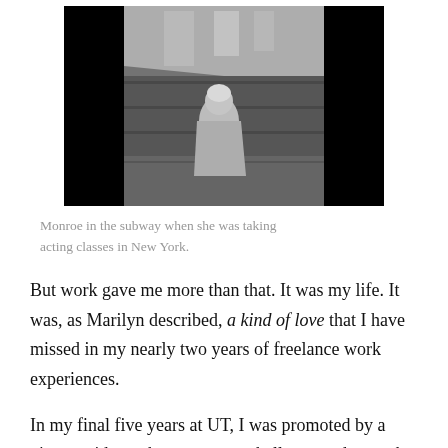[Figure (photo): Black and white photograph of Marilyn Monroe standing in a subway station, wearing a light-colored coat, looking over her shoulder, with the train platform visible behind her.]
Monroe in the subway when she was taking acting classes in New York.
But work gave me more than that. It was my life. It was, as Marilyn described, a kind of love that I have missed in my nearly two years of freelance work experiences.
In my final five years at UT, I was promoted by a vice president who gave me a challenge and enough power to